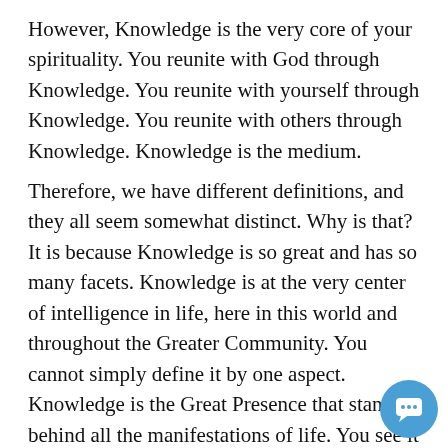However, Knowledge is the very core of your spirituality. You reunite with God through Knowledge. You reunite with yourself through Knowledge. You reunite with others through Knowledge. Knowledge is the medium.
Therefore, we have different definitions, and they all seem somewhat distinct. Why is that? It is because Knowledge is so great and has so many facets. Knowledge is at the very center of intelligence in life, here in this world and throughout the Greater Community. You cannot simply define it by one aspect. Knowledge is the Great Presence that stands behind all the manifestations of life. You see it here, and then you see it there. It looks different here than it does over there. Then, you experience it anew, and something new comes with it. Knowledge is the greater part of you living in manifest life. It is translating the Will of the universe into your
[Figure (other): Blue circular chat button icon in the bottom-right corner]